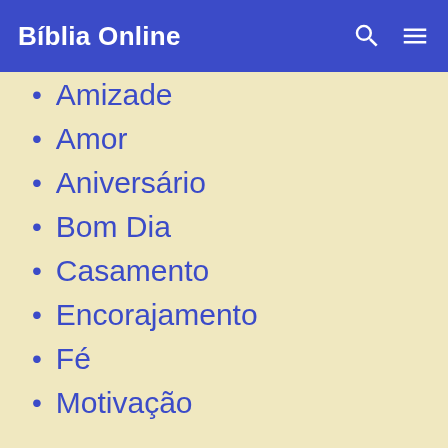Bíblia Online
Amizade
Amor
Aniversário
Bom Dia
Casamento
Encorajamento
Fé
Motivação